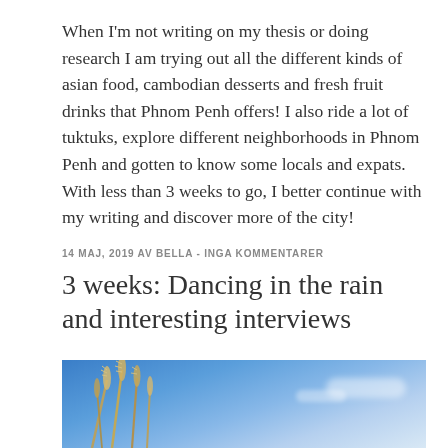When I'm not writing on my thesis or doing research I am trying out all the different kinds of asian food, cambodian desserts and fresh fruit drinks that Phnom Penh offers! I also ride a lot of tuktuks, explore different neighborhoods in Phnom Penh and gotten to know some locals and expats. With less than 3 weeks to go, I better continue with my writing and discover more of the city!
14 MAJ, 2019 AV BELLA - INGA KOMMENTARER
3 weeks: Dancing in the rain and interesting interviews
[Figure (photo): Photo of tall grass or grain plant stalks against a blue sky with light clouds]